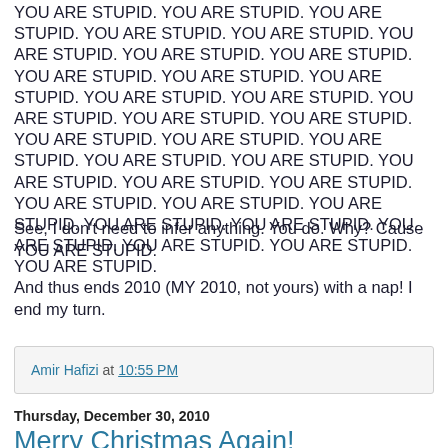YOU ARE STUPID. YOU ARE STUPID. YOU ARE STUPID. YOU ARE STUPID. YOU ARE STUPID. YOU ARE STUPID. YOU ARE STUPID. YOU ARE STUPID. YOU ARE STUPID. YOU ARE STUPID. YOU ARE STUPID. YOU ARE STUPID. YOU ARE STUPID. YOU ARE STUPID. YOU ARE STUPID. YOU ARE STUPID. YOU ARE STUPID. YOU ARE STUPID. YOU ARE STUPID. YOU ARE STUPID. YOU ARE STUPID. YOU ARE STUPID. YOU ARE STUPID. YOU ARE STUPID. YOU ARE STUPID. YOU ARE STUPID. YOU ARE STUPID. YOU ARE STUPID. YOU ARE STUPID. YOU ARE STUPID. YOU ARE STUPID. YOU ARE STUPID. YOU ARE STUPID.
See, I don't need to infer anything. You do. Why? Cause YOU ARE STUPID.
And thus ends 2010 (MY 2010, not yours) with a nap! I end my turn.
Amir Hafizi at 10:55 PM
Thursday, December 30, 2010
Merry Christmas Again!